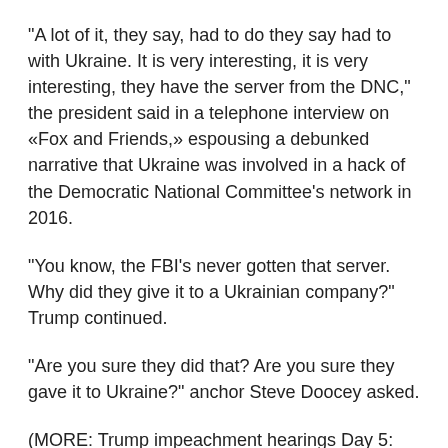“A lot of it, they say, had to do they say had to with Ukraine. It is very interesting, it is very interesting, they have the server from the DNC,” the president said in a telephone interview on «Fox and Friends,» espousing a debunked narrative that Ukraine was involved in a hack of the Democratic National Committee’s network in 2016.
“You know, the FBI’s never gotten that server. Why did they give it to a Ukrainian company?” Trump continued.
“Are you sure they did that? Are you sure they gave it to Ukraine?” anchor Steve Doocey asked.
(MORE: Trump impeachment hearings Day 5: Fiona Hill and David Holmes testify)